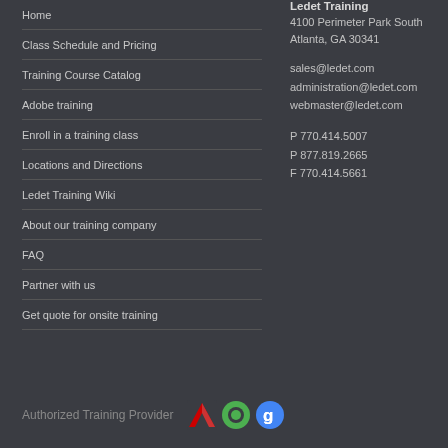Home
Class Schedule and Pricing
Training Course Catalog
Adobe training
Enroll in a training class
Locations and Directions
Ledet Training Wiki
About our training company
FAQ
Partner with us
Get quote for onsite training
Ledet Training
4100 Perimeter Park South
Atlanta, GA 30341
sales@ledet.com
administration@ledet.com
webmaster@ledet.com
P 770.414.5007
P 877.819.2665
F 770.414.5661
Authorized Training Provider
[Figure (logo): Authorized Training Provider logos: Adobe, Quark, Google]